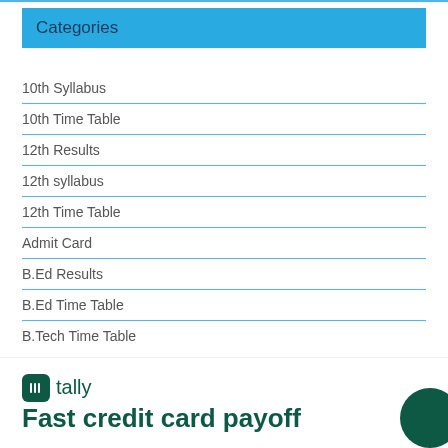Categories
10th Syllabus
10th Time Table
12th Results
12th syllabus
12th Time Table
Admit Card
B.Ed Results
B.Ed Time Table
B.Tech Time Table
[Figure (logo): Tally app logo and advertisement with text 'Fast credit card payoff']